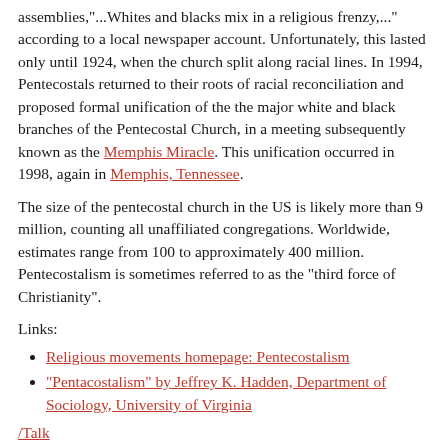assemblies,"...Whites and blacks mix in a religious frenzy,..." according to a local newspaper account. Unfortunately, this lasted only until 1924, when the church split along racial lines. In 1994, Pentecostals returned to their roots of racial reconciliation and proposed formal unification of the the major white and black branches of the Pentecostal Church, in a meeting subsequently known as the Memphis Miracle. This unification occurred in 1998, again in Memphis, Tennessee.
The size of the pentecostal church in the US is likely more than 9 million, counting all unaffiliated congregations. Worldwide, estimates range from 100 to approximately 400 million. Pentecostalism is sometimes referred to as the "third force of Christianity".
Links:
Religious movements homepage: Pentecostalism
"Pentacostalism" by Jeffrey K. Hadden, Department of Sociology, University of Virginia
/Talk
Retrieved from "https://nostalgia.wikipedia.org/w/index.php?title=Pentecostalism&oldid=81815"